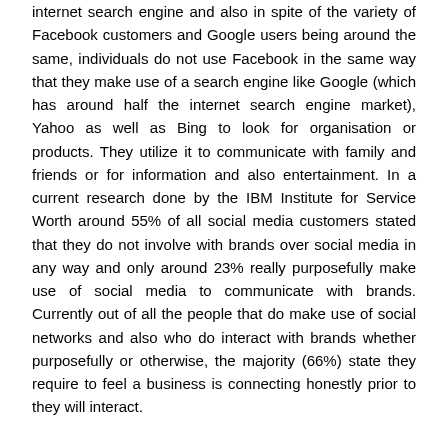internet search engine and also in spite of the variety of Facebook customers and Google users being around the same, individuals do not use Facebook in the same way that they make use of a search engine like Google (which has around half the internet search engine market), Yahoo as well as Bing to look for organisation or products. They utilize it to communicate with family and friends or for information and also entertainment. In a current research done by the IBM Institute for Service Worth around 55% of all social media customers stated that they do not involve with brands over social media in any way and only around 23% really purposefully make use of social media to communicate with brands. Currently out of all the people that do make use of social networks and also who do interact with brands whether purposefully or otherwise, the majority (66%) state they require to feel a business is connecting honestly prior to they will interact.